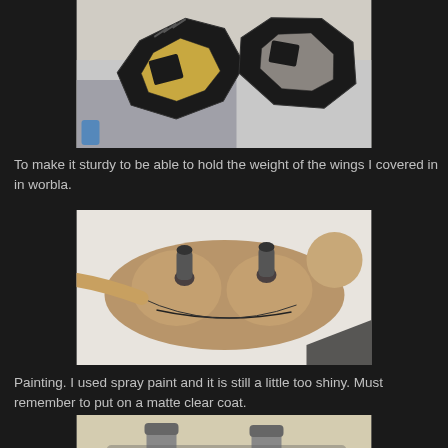[Figure (photo): Black foam/worbla shaped pieces resembling goggles or shoulder armor components, sitting on a work surface]
To make it sturdy to be able to hold the weight of the wings I covered in in worbla.
[Figure (photo): Tan/beige worbla-covered piece shaped like a face mask or chest piece with two tubes/posts sticking up, laid flat on a white surface]
Painting. I used spray paint and it is still a little too shiny. Must remember to put on a matte clear coat.
[Figure (photo): Partially visible bottom image showing spray-painted pieces]